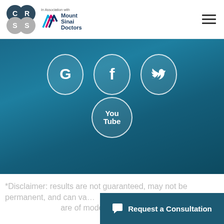[Figure (logo): CRSS circles logo and Mount Sinai Doctors logo with 'In Association with' text above, plus hamburger menu icon on the right]
[Figure (illustration): Blue gradient background section with social media icons: Google (G), Facebook (f), Twitter (bird), and YouTube circle icons]
*Disclaimer: results are not guaranteed, may not be permanent, and can va... are of model...
[Figure (other): Dark teal 'Request a Consultation' chat button overlay at bottom right]